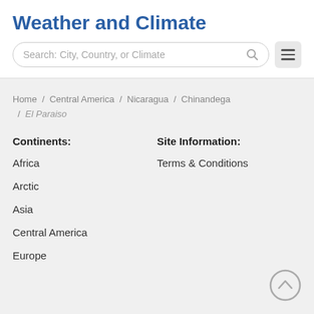Weather and Climate
Search: City, Country, or Climate
Home / Central America / Nicaragua / Chinandega / El Paraiso
Continents:
Site Information:
Africa
Terms & Conditions
Arctic
Asia
Central America
Europe